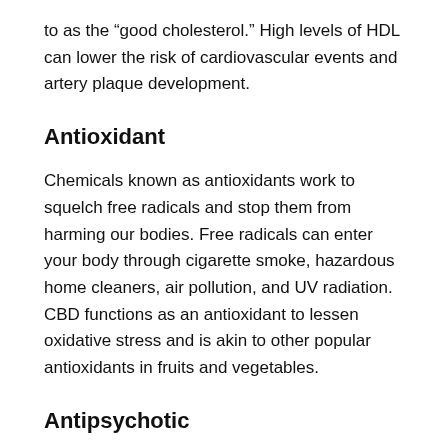to as the “good cholesterol.” High levels of HDL can lower the risk of cardiovascular events and artery plaque development.
Antioxidant
Chemicals known as antioxidants work to squelch free radicals and stop them from harming our bodies. Free radicals can enter your body through cigarette smoke, hazardous home cleaners, air pollution, and UV radiation. CBD functions as an antioxidant to lessen oxidative stress and is akin to other popular antioxidants in fruits and vegetables.
Antipsychotic
Dopamine excess might result in psychotic symptoms.